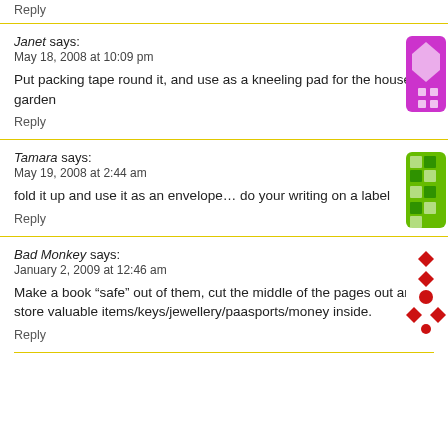Reply
Janet says:
May 18, 2008 at 10:09 pm
Put packing tape round it, and use as a kneeling pad for the house or garden
Reply
Tamara says:
May 19, 2008 at 2:44 am
fold it up and use it as an envelope… do your writing on a label
Reply
Bad Monkey says:
January 2, 2009 at 12:46 am
Make a book “safe” out of them, cut the middle of the pages out and store valuable items/keys/jewellery/paasports/money inside.
Reply